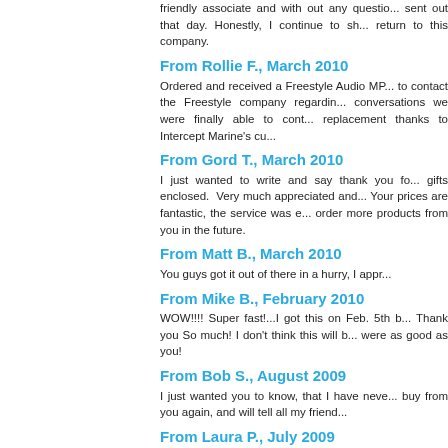friendly associate and with out any questions, sent out that day. Honestly, I continue to sh... return to this company.
From Rollie F., March 2010
Ordered and received a Freestyle Audio MP... to contact the Freestyle company regarding... conversations we were finally able to cont... replacement thanks to Intercept Marine's cu...
From Gord T., March 2010
I just wanted to write and say thank you for... gifts enclosed. Very much appreciated and... Your prices are fantastic, the service was e... order more products from you in the future.
From Matt B., March 2010
You guys got it out of there in a hurry, I appr...
From Mike B., February 2010
WOW!!!! Super fast!...I got this on Feb. 5th b... Thank you So much! I don't think this will b... were as good as you!
From Bob S., August 2009
I just wanted you to know, that I have neve... buy from you again, and will tell all my friend...
From Laura P., July 2009
This may be the best online shopping exper...